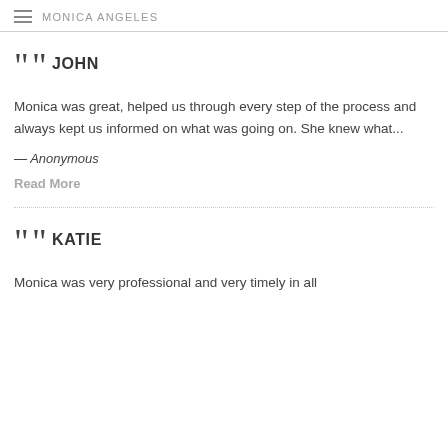MONICA ANGELES
JOHN
Monica was great, helped us through every step of the process and always kept us informed on what was going on. She knew what...
— Anonymous
Read More
KATIE
Monica was very professional and very timely in all